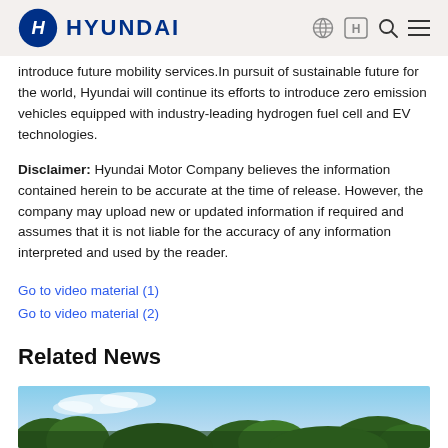HYUNDAI
introduce future mobility services. In pursuit of sustainable future for the world, Hyundai will continue its efforts to introduce zero emission vehicles equipped with industry-leading hydrogen fuel cell and EV technologies.
Disclaimer: Hyundai Motor Company believes the information contained herein to be accurate at the time of release. However, the company may upload new or updated information if required and assumes that it is not liable for the accuracy of any information interpreted and used by the reader.
Go to video material (1)
Go to video material (2)
Related News
[Figure (photo): Outdoor photo showing tree canopy against a blue sky, partial view at bottom of page]